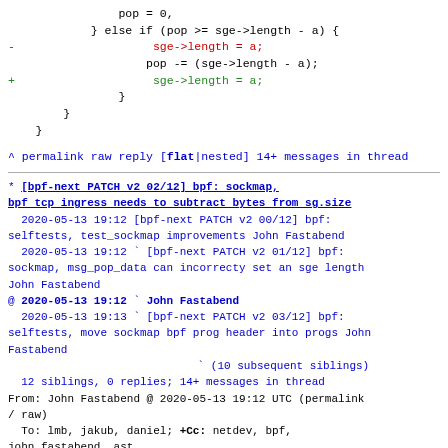Code diff showing sge->length and pop operations in C, with removed line (red) and added line (green)
^ permalink raw reply    [flat|nested] 14+ messages in thread
* [bpf-next PATCH v2 02/12] bpf: sockmap, bpf tcp ingress needs to subtract bytes from sg.size
2020-05-13 19:12 [bpf-next PATCH v2 00/12] bpf: selftests, test_sockmap improvements John Fastabend
2020-05-13 19:12 ` [bpf-next PATCH v2 01/12] bpf: sockmap, msg_pop_data can incorrecty set an sge length John Fastabend
@ 2020-05-13 19:12 ` John Fastabend
2020-05-13 19:13 ` [bpf-next PATCH v2 03/12] bpf: selftests, move sockmap bpf prog header into progs John Fastabend
(10 subsequent siblings)
12 siblings, 0 replies; 14+ messages in thread
From: John Fastabend @ 2020-05-13 19:12 UTC (permalink / raw)
To: lmb, jakub, daniel; +Cc: netdev, bpf, john.fastabend, ast